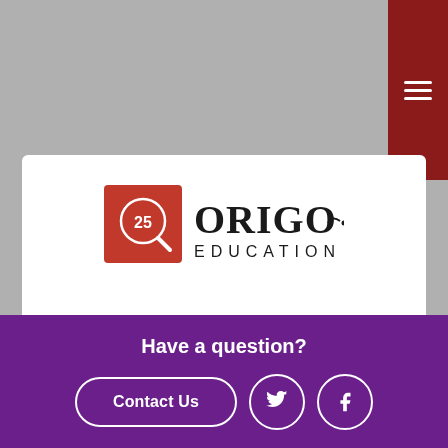[Figure (logo): ORIGO Education logo with 25th anniversary badge - red square with circular icon on left, ORIGO text logo with EDUCATION subtitle on right]
For a better experience, please visit our US site
Visit US Site
No thanks, stay here
Have a question?
Contact Us